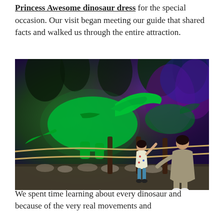Princess Awesome dinosaur dress for the special occasion. Our visit began meeting our guide that shared facts and walked us through the entire attraction.
[Figure (photo): A child and an adult looking at a glowing green animatronic dinosaur exhibit with purple and blue lighting, tropical plants and foliage backdrop, wooden fence posts with rope barrier, and pebble ground.]
We spent time learning about every dinosaur and because of the very real movements and